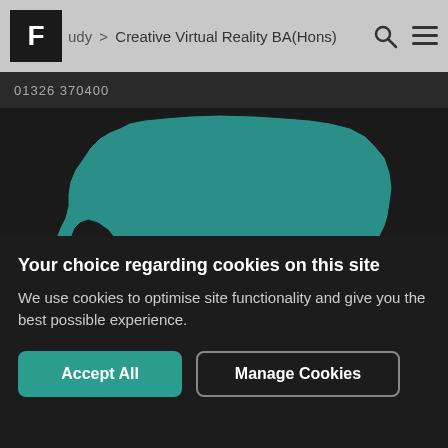udy > Creative Virtual Reality BA(Hons)
01326 370400
[Figure (map): Map of southern England and Wales showing location dots for Cardiff, Bristol, London, Newquay, and Exeter on a dark background with teal-colored landmass.]
Your choice regarding cookies on this site
We use cookies to optimise site functionality and give you the best possible experience.
Accept All
Manage Cookies